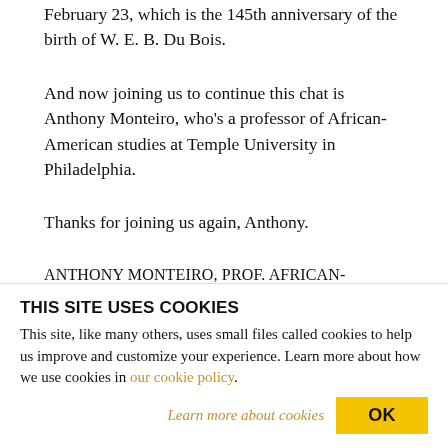February 23, which is the 145th anniversary of the birth of W. E. B. Du Bois.
And now joining us to continue this chat is Anthony Monteiro, who's a professor of African-American studies at Temple University in Philadelphia.
Thanks for joining us again, Anthony.
ANTHONY MONTEIRO, PROF. AFRICAN-AMERICAN STUDIES, TEMPLE UNIVERSITY:
THIS SITE USES COOKIES
This site, like many others, uses small files called cookies to help us improve and customize your experience. Learn more about how we use cookies in our cookie policy.
Learn more about cookies  OK